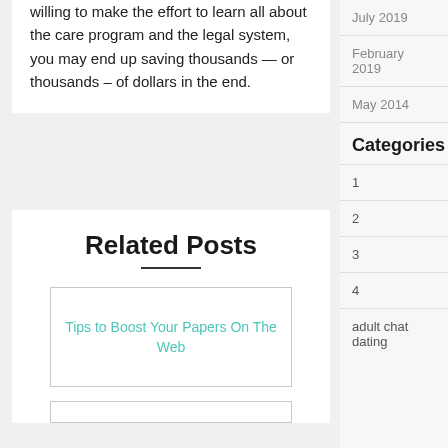willing to make the effort to learn all about the care program and the legal system, you may end up saving thousands — or thousands – of dollars in the end.
Related Posts
Tips to Boost Your Papers On The Web
July 2019
February 2019
May 2014
Categories
1
2
3
4
adult chat dating